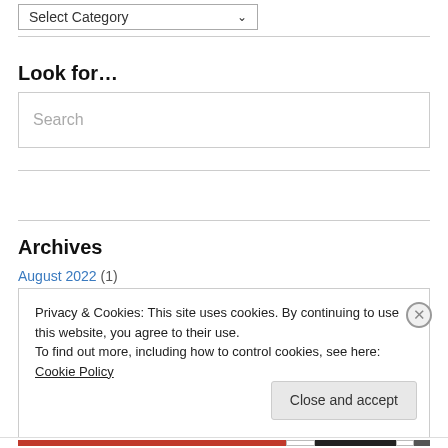Select Category
Look for...
Search
Archives
August 2022 (1)
Privacy & Cookies: This site uses cookies. By continuing to use this website, you agree to their use.
To find out more, including how to control cookies, see here: Cookie Policy
Close and accept